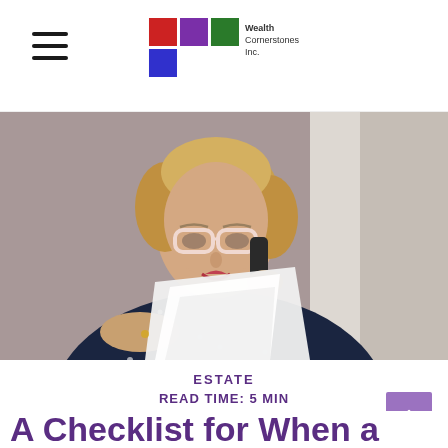Wealth Cornerstones Inc.
[Figure (photo): Elderly woman with white-framed glasses talking on a mobile phone while holding and reading documents, wearing a dark navy polka-dot blouse.]
ESTATE
READ TIME: 5 MIN
A Checklist for When a